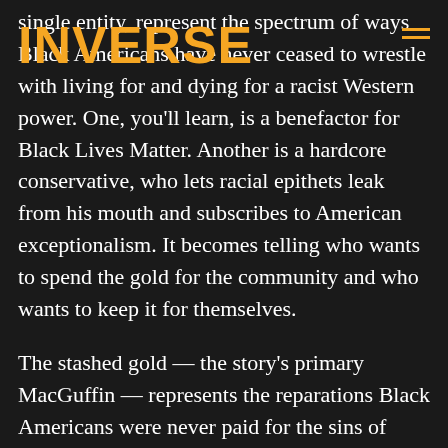INVERSE
single entity, represent the spectrum of ways Black Americans have never ceased to wrestle with living for and dying for a racist Western power. One, you'll learn, is a benefactor for Black Lives Matter. Another is a hardcore conservative, who lets racial epithets leak from his mouth and subscribes to American exceptionalism. It becomes telling who wants to spend the gold for the community and who wants to keep it for themselves.
The stashed gold — the story's primary MacGuffin — represents the reparations Black Americans were never paid for the sins of slavery and dehumanization. When the Bloods argue over how it should be split, or even what it should be for, the characters engage in a new war with their own conscience. Through this debate, Lee raises questions about how America ought to repay its debt. There's no question about reparations, but what should that money look like? It is a new war with familiar